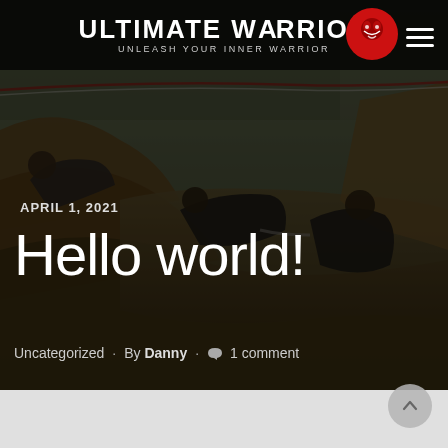[Figure (photo): Mud run obstacle course scene with people crawling through muddy water, helping each other, with grass and trees in background. Dark moody tone.]
ULTIMATE WARRIOR — UNLEASH YOUR INNER WARRIOR
APRIL 1, 2021
Hello world!
Uncategorized · By Danny · 1 comment